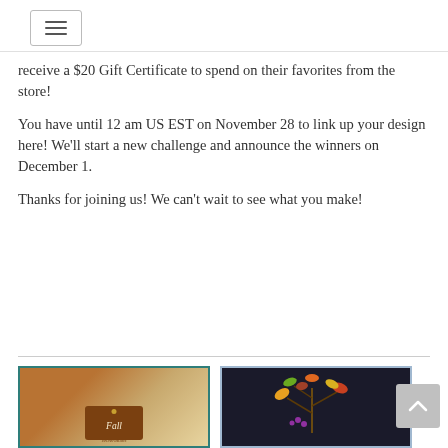☰ (hamburger menu button)
receive a $20 Gift Certificate to spend on their favorites from the store!
You have until 12 am US EST on November 28 to link up your design here!  We'll start a new challenge and announce the winners on December 1.
Thanks for joining us!  We can't wait to see what you make!
[Figure (photo): Craft card with autumn fall tag on a brown/teal background]
[Figure (photo): Dark craft card with colorful leaf branch design on dark background with light blue border]